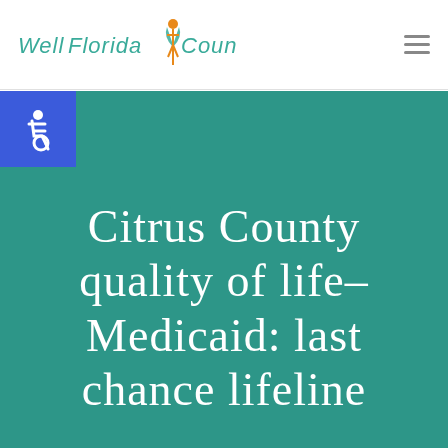WellFlorida Council
[Figure (logo): WellFlorida Council logo with stylized wheat/plant figure in orange and teal, with italic text 'WellFlorida Council' in teal]
[Figure (infographic): Blue square with white wheelchair accessibility icon]
Citrus County quality of life–Medicaid: last chance lifeline